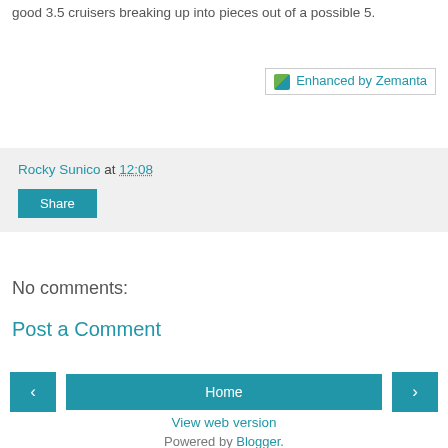good 3.5 cruisers breaking up into pieces out of a possible 5.
[Figure (other): Enhanced by Zemanta badge/button with green and blue icon]
Rocky Sunico at 12:08
Share
No comments:
Post a Comment
‹
Home
›
View web version
Powered by Blogger.